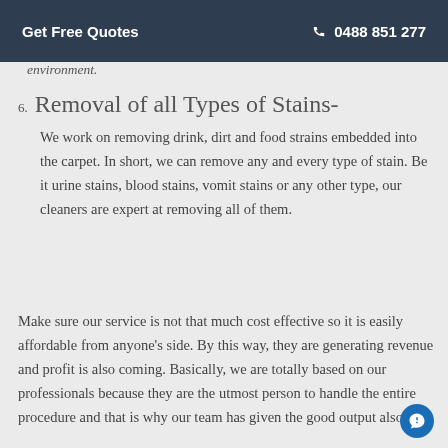Get Free Quotes   0488 851 277
environment.
6. Removal of all Types of Stains-
We work on removing drink, dirt and food strains embedded into the carpet. In short, we can remove any and every type of stain. Be it urine stains, blood stains, vomit stains or any other type, our cleaners are expert at removing all of them.
Make sure our service is not that much cost effective so it is easily affordable from anyone's side. By this way, they are generating revenue and profit is also coming. Basically, we are totally based on our professionals because they are the utmost person to handle the entire procedure and that is why our team has given the good output also.